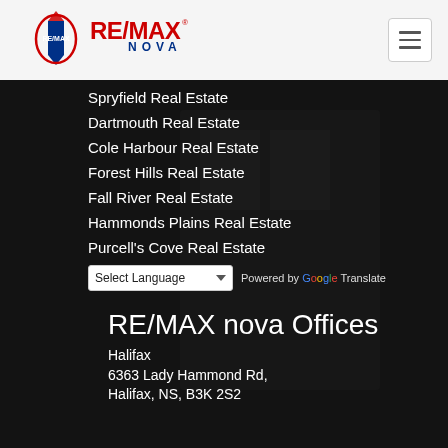[Figure (logo): RE/MAX Nova logo with balloon icon and text RE/MAX NOVA]
Spryfield Real Estate
Dartmouth Real Estate
Cole Harbour Real Estate
Forest Hills Real Estate
Fall River Real Estate
Hammonds Plains Real Estate
Purcell's Cove Real Estate
Select Language  Powered by Google Translate
RE/MAX nova Offices
Halifax
6363 Lady Hammond Rd,
Halifax, NS, B3K 2S2